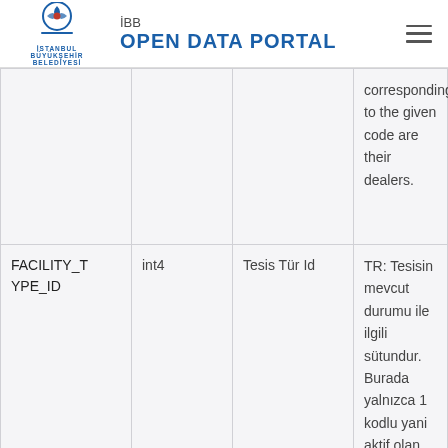İBB OPEN DATA PORTAL
|  |  |  | corresponding to the given code are their dealers. |
| FACILITY_TYPE_ID | int4 | Tesis Tür Id | TR: Tesisin mevcut durumu ile ilgili sütundur. Burada yalnızca 1 kodlu yani aktif olan tesis türünün |